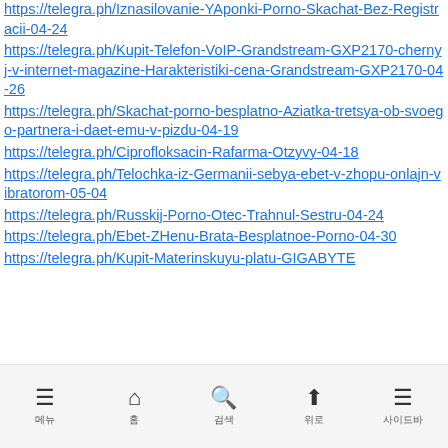https://telegra.ph/Iznasilovanie-YAponki-Porno-Skachat-Bez-Registracii-04-24
https://telegra.ph/Kupit-Telefon-VoIP-Grandstream-GXP2170-chernyj-v-internet-magazine-Harakteristiki-cena-Grandstream-GXP2170-04-26
https://telegra.ph/Skachat-porno-besplatno-Aziatka-tretsya-ob-svoego-partnera-i-daet-emu-v-pizdu-04-19
https://telegra.ph/Ciprofloksacin-Rafarma-Otzyvy-04-18
https://telegra.ph/Telochka-iz-Germanii-sebya-ebet-v-zhopu-onlajn-vibratorom-05-04
https://telegra.ph/Russkij-Porno-Otec-Trahnul-Sestru-04-24
https://telegra.ph/Ebet-ZHenu-Brata-Besplatnoe-Porno-04-30
https://telegra.ph/Kupit-Materinskuyu-platu-GIGABYTE...
메뉴  홈  검색  위로  사이드바